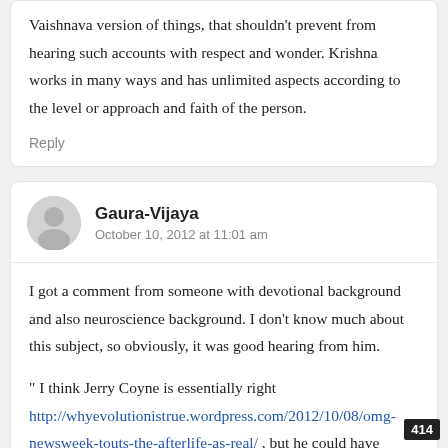Vaishnava version of things, that shouldn't prevent from hearing such accounts with respect and wonder. Krishna works in many ways and has unlimited aspects according to the level or approach and faith of the person.
Reply
Gaura-Vijaya
October 10, 2012 at 11:01 am
I got a comment from someone with devotional background and also neuroscience background. I don't know much about this subject, so obviously, it was good hearing from him.
" I think Jerry Coyne is essentially right http://whyevolutionistrue.wordpress.com/2012/10/08/omg-newsweek-touts-the-afterlife-as-real/ , but he could have
414